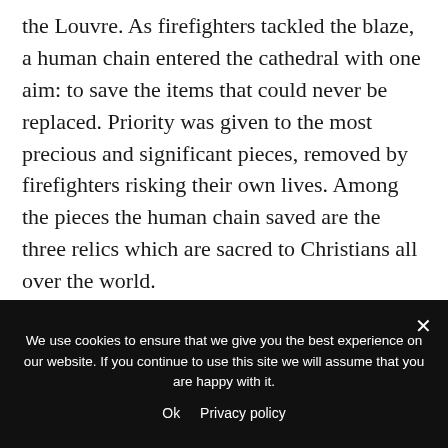the Louvre. As firefighters tackled the blaze, a human chain entered the cathedral with one aim: to save the items that could never be replaced. Priority was given to the most precious and significant pieces, removed by firefighters risking their own lives. Among the pieces the human chain saved are the three relics which are sacred to Christians all over the world.
See also: Artist Hannah Shergold Announces Collaboration With Conservation Charity Tusk
We use cookies to ensure that we give you the best experience on our website. If you continue to use this site we will assume that you are happy with it.
Ok   Privacy policy